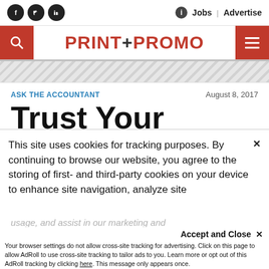Social icons (Facebook, Twitter, LinkedIn) | Jobs | Advertise
[Figure (screenshot): Print+Promo website header with logo, search icon, and hamburger menu on red background]
ASK THE ACCOUNTANT
August 8, 2017
Trust Your
This site uses cookies for tracking purposes. By continuing to browse our website, you agree to the storing of first- and third-party cookies on your device to enhance site navigation, analyze site usage, and assist in our marketing and
Accept and Close ✕
Your browser settings do not allow cross-site tracking for advertising. Click on this page to allow AdRoll to use cross-site tracking to tailor ads to you. Learn more or opt out of this AdRoll tracking by clicking here. This message only appears once.